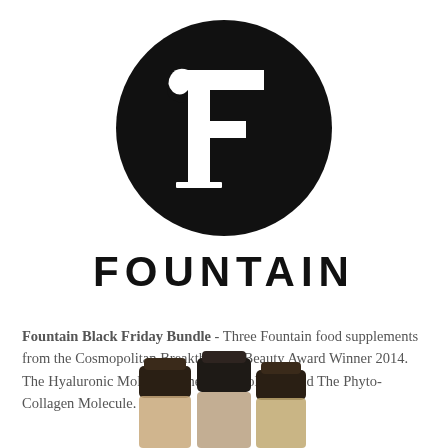[Figure (logo): Fountain brand logo: black circle with white decorative letter F inside]
FOUNTAIN
Fountain Black Friday Bundle - Three Fountain food supplements from the Cosmopolitan Breakthrough Beauty Award Winner 2014. The Hyaluronic Molecule, The Hair Molecule and The Phyto-Collagen Molecule.
[Figure (photo): Three small dark glass bottles with black caps, partially visible at the bottom of the page]